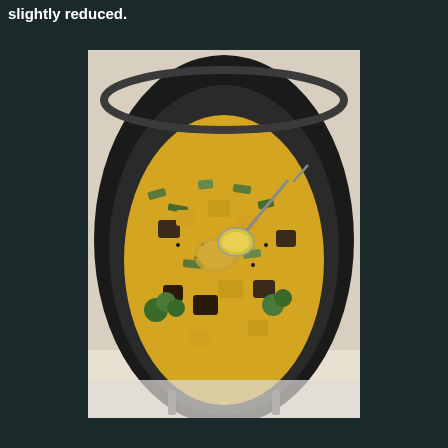slightly reduced.
[Figure (photo): A black wok or pan on a stovetop containing a curry dish with mixed vegetables including zucchini, broccoli, and other vegetables in a yellow/golden sauce. A spoon is visible in the pan scooping some of the sauce. The dish appears to be an Indian-style vegetable curry with spices visible.]